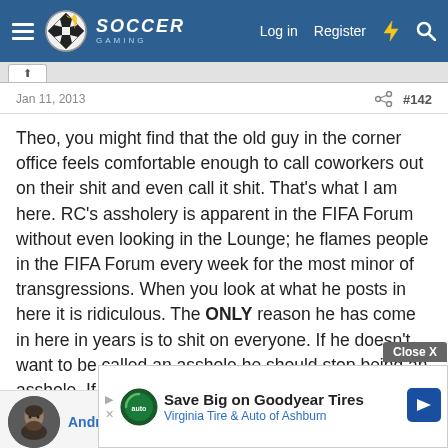Soccer Gaming — Log in | Register
Jan 11, 2013
#142
Theo, you might find that the old guy in the corner office feels comfortable enough to call coworkers out on their shit and even call it shit. That's what I am here. RC's assholery is apparent in the FIFA Forum without even looking in the Lounge; he flames people in the FIFA Forum every week for the most minor of transgressions. When you look at what he posts in here it is ridiculous. The ONLY reason he has come in here in years is to shit on everyone. If he doesn't want to be called an asshole he should stop being an asshole. If you don't want to see me calling someone an asshole, then stop looking in a thread where an asshole is acting like an asshole. It's not childish to say that, it's just truth.
AndreaPirlo21
Save Big on Goodyear Tires Virginia Tire & Auto of Ashburn